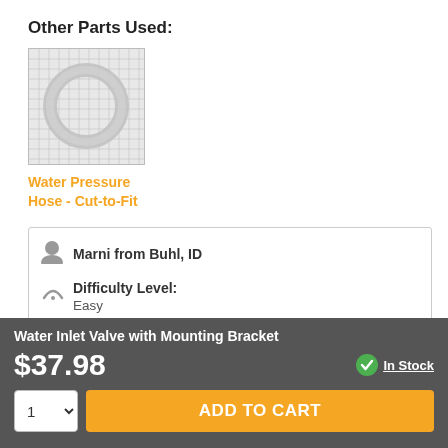Other Parts Used:
[Figure (photo): Photo of a Water Pressure Hose - Cut-to-Fit part, showing a translucent ring/hose component on a grid background]
Water Pressure Hose - Cut-to-Fit
Marni from Buhl, ID
Difficulty Level:
Easy
Total Repair Time:
15 - 30 mins
Water Inlet Valve with Mounting Bracket
$37.98
In Stock
ADD TO CART